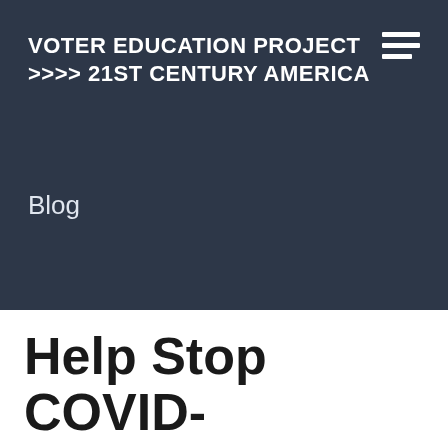VOTER EDUCATION PROJECT >>>> 21ST CENTURY AMERICA
Blog
Help Stop COVID-19...